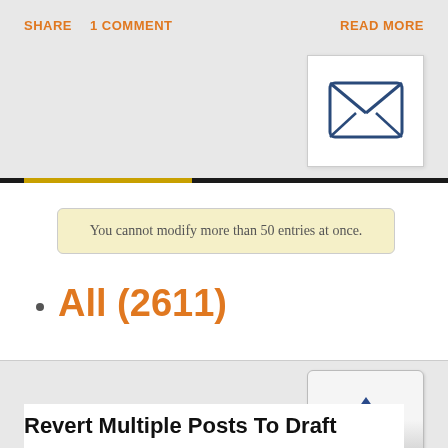SHARE   1 COMMENT   READ MORE
[Figure (illustration): Envelope icon in white box — a stylized letter envelope with an X cross pattern on the front, outlined in dark blue/navy on white background]
You cannot modify more than 50 entries at once.
All (2611)
[Figure (illustration): Scroll-to-top button: a rounded square button with a dark blue upward-pointing triangle arrow, on a light grey gradient background]
Revert Multiple Posts To Draft